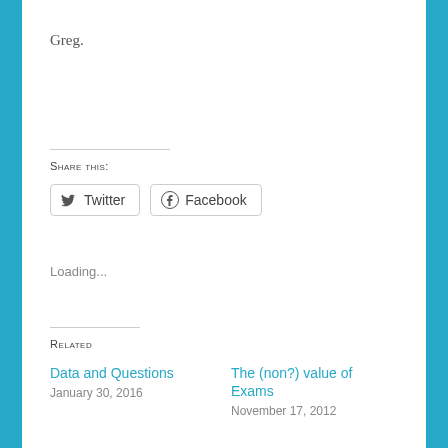Greg.
Share this:
Twitter  Facebook
Loading...
Related
Data and Questions
January 30, 2016
The (non?) value of Exams
November 17, 2012